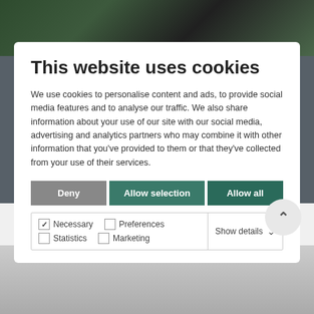[Figure (screenshot): Background industrial photo showing metal pipes and machinery at top]
This website uses cookies
We use cookies to personalise content and ads, to provide social media features and to analyse our traffic. We also share information about your use of our site with our social media, advertising and analytics partners who may combine it with other information that you've provided to them or that they've collected from your use of their services.
Deny | Allow selection | Allow all
Necessary  Preferences  Statistics  Marketing  Show details ˅
Pole Products
[Figure (photo): Background industrial photo showing metal poles/pipes at bottom]